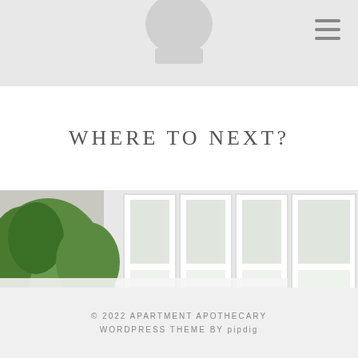WHERE TO NEXT?
[Figure (photo): Window with white-framed panes and sheer cafe curtains, green foliage plants on the left side, with a white overlay label reading MAKING CAFE CURTAINS FOR ...]
© 2022 APARTMENT APOTHECARY
WORDPRESS THEME BY pipdig